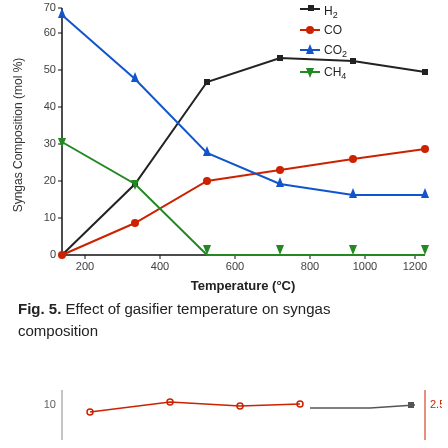[Figure (line-chart): Effect of gasifier temperature on syngas composition]
Fig. 5. Effect of gasifier temperature on syngas composition
[Figure (line-chart): Partially visible line chart at bottom of page showing values around 10 on left axis and 2.5 on right axis]